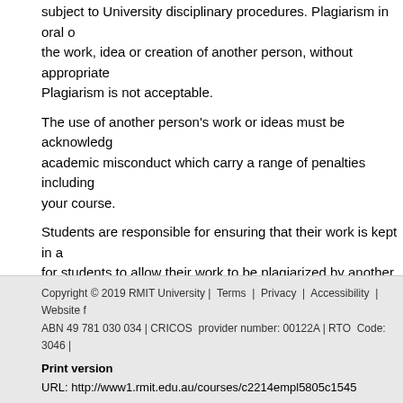Students are reminded that cheating, whether by fabrication, falsification, is subject to University disciplinary procedures. Plagiarism in oral or written work, the work, idea or creation of another person, without appropriate acknowledgement. Plagiarism is not acceptable.
The use of another person's work or ideas must be acknowledged as academic misconduct which carry a range of penalties including exclusion from your course.
Students are responsible for ensuring that their work is kept in a safe place, for students to allow their work to be plagiarized by another student. Students should be aware of their rights and responsibilities regarding plagiarism. It is strongly recommended that students refer to the Guidelines for Students.
Course Overview: Access Course Overview
Copyright © 2019 RMIT University | Terms | Privacy | Accessibility | Website feedback ABN 49 781 030 034 | CRICOS provider number: 00122A | RTO Code: 3046 | Print version URL: http://www1.rmit.edu.au/courses/c2214empl5805c1545